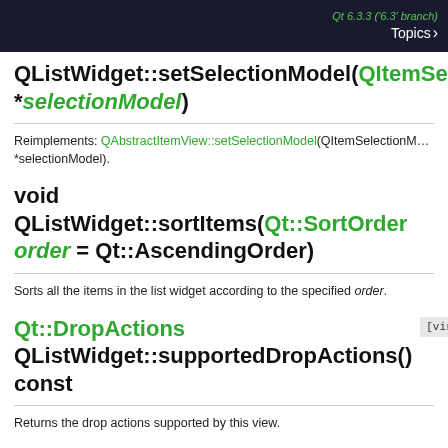Qt 6.3.3 ('6.3' branch)  Topics >
QListWidget::setSelectionModel(QItemSelectionModel *selectionModel)
Reimplements: QAbstractItemView::setSelectionModel(QItemSelectionModel *selectionModel).
void QListWidget::sortItems(Qt::SortOrder order = Qt::AscendingOrder)
Sorts all the items in the list widget according to the specified order.
Qt::DropActions QListWidget::supportedDropActions() const  [virtual protect
Returns the drop actions supported by this view.